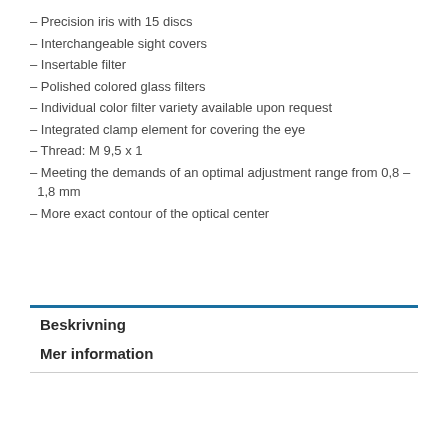– Precision iris with 15 discs
– Interchangeable sight covers
– Insertable filter
– Polished colored glass filters
– Individual color filter variety available upon request
– Integrated clamp element for covering the eye
– Thread: M 9,5 x 1
– Meeting the demands of an optimal adjustment range from 0,8 – 1,8 mm
– More exact contour of the optical center
Beskrivning
Mer information